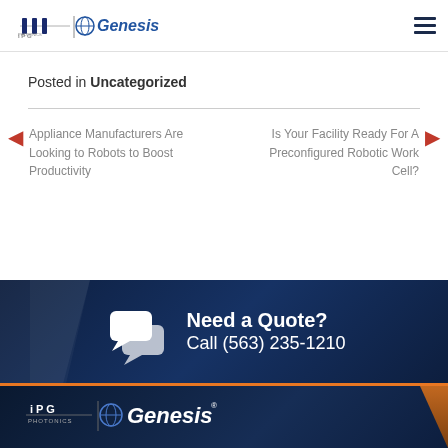[Figure (logo): IPG Photonics Genesis logo in header]
Posted in Uncategorized
Appliance Manufacturers Are Looking to Robots to Boost Productivity
Is Your Facility Ready For A Preconfigured Robotic Work Cell?
[Figure (infographic): Dark blue CTA section with chat bubble icon, text 'Need a Quote? Call (563) 235-1210']
[Figure (logo): IPG Photonics Genesis logo in dark blue footer]